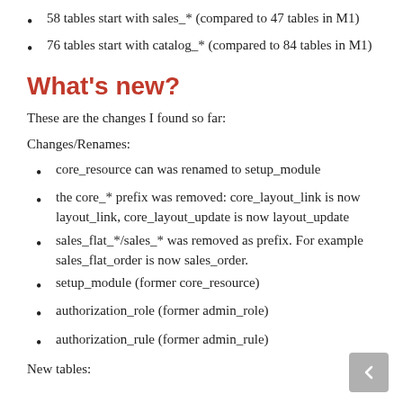58 tables start with sales_* (compared to 47 tables in M1)
76 tables start with catalog_* (compared to 84 tables in M1)
What's new?
These are the changes I found so far:
Changes/Renames:
core_resource can was renamed to setup_module
the core_* prefix was removed: core_layout_link is now layout_link, core_layout_update is now layout_update
sales_flat_*/sales_* was removed as prefix. For example sales_flat_order is now sales_order.
setup_module (former core_resource)
authorization_role (former admin_role)
authorization_rule (former admin_rule)
New tables: